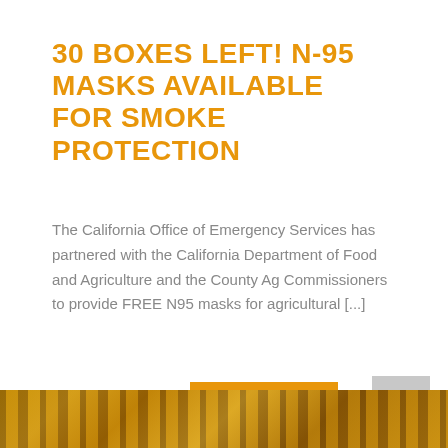30 BOXES LEFT! N-95 MASKS AVAILABLE FOR SMOKE PROTECTION
The California Office of Emergency Services has partnered with the California Department of Food and Agriculture and the County Ag Commissioners to provide FREE N95 masks for agricultural [...]
READ MORE
[Figure (photo): Bottom strip showing a blurred orange/golden colored image, likely agricultural or wildfire-related.]